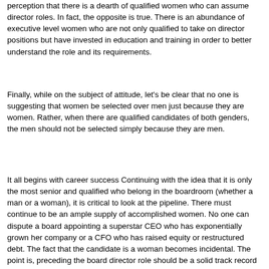perception that there is a dearth of qualified women who can assume director roles. In fact, the opposite is true. There is an abundance of executive level women who are not only qualified to take on director positions but have invested in education and training in order to better understand the role and its requirements.
Finally, while on the subject of attitude, let's be clear that no one is suggesting that women be selected over men just because they are women. Rather, when there are qualified candidates of both genders, the men should not be selected simply because they are men.
It all begins with career success Continuing with the idea that it is only the most senior and qualified who belong in the boardroom (whether a man or a woman), it is critical to look at the pipeline. There must continue to be an ample supply of accomplished women. No one can dispute a board appointing a superstar CEO who has exponentially grown her company or a CFO who has raised equity or restructured debt. The fact that the candidate is a woman becomes incidental. The point is, preceding the board director role should be a solid track record of success and accomplishments in one's industry.